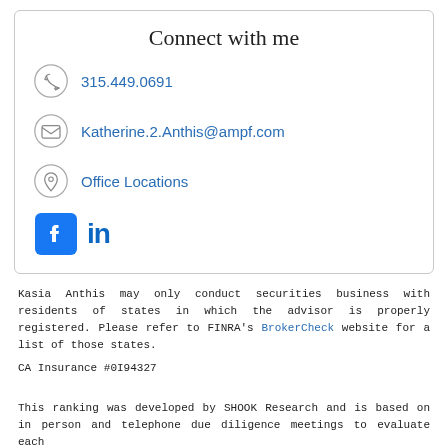Connect with me
315.449.0691
Katherine.2.Anthis@ampf.com
Office Locations
[Figure (logo): Facebook and LinkedIn social media icons]
Kasia Anthis may only conduct securities business with residents of states in which the advisor is properly registered. Please refer to FINRA's BrokerCheck website for a list of those states.
CA Insurance #0I94327
This ranking was developed by SHOOK Research and is based on in person and telephone due diligence meetings to evaluate each